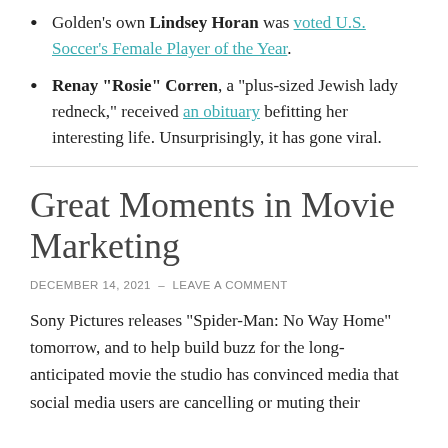Golden’s own Lindsey Horan was voted U.S. Soccer’s Female Player of the Year.
Renay “Rosie” Corren, a “plus-sized Jewish lady redneck,” received an obituary befitting her interesting life. Unsurprisingly, it has gone viral.
Great Moments in Movie Marketing
DECEMBER 14, 2021 – LEAVE A COMMENT
Sony Pictures releases “Spider-Man: No Way Home” tomorrow, and to help build buzz for the long-anticipated movie the studio has convinced media that social media users are cancelling or muting their